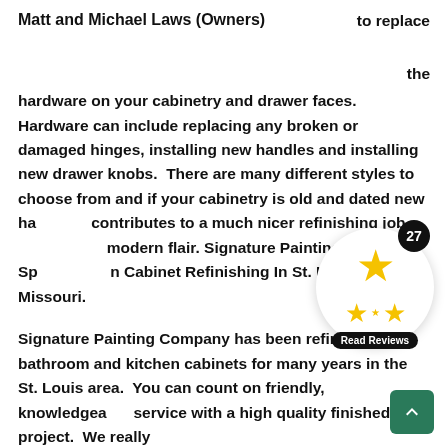Matt and Michael Laws (Owners)    to replace

the

hardware on your cabinetry and drawer faces. Hardware can include replacing any broken or damaged hinges, installing new handles and installing new drawer knobs.  There are many different styles to choose from and if your cabinetry is old and dated new hardware contributes to a much nicer refinishing job and gives a modern flair. Signature Painting Company Specializes In Cabinet Refinishing In St. Louis, Missouri.
[Figure (infographic): Round review widget with a large yellow star, two smaller yellow stars below, a black badge showing '27', and a dark 'Read Reviews' button.]
Signature Painting Company has been refinishing bathroom and kitchen cabinets for many years in the St. Louis area.  You can count on friendly, knowledgeable service with a high quality finished project.  We really
[Figure (infographic): Green back-to-top button with an upward chevron arrow.]